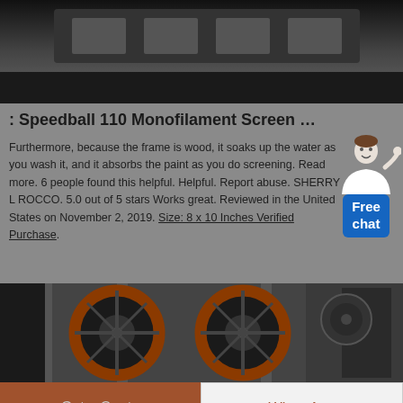[Figure (photo): Dark industrial machinery photo at top of page]
: Speedball 110 Monofilament Screen …
Furthermore, because the frame is wood, it soaks up the water as you wash it, and it absorbs the paint as you do screening. Read more. 6 people found this helpful. Helpful. Report abuse. SHERRY L ROCCO. 5.0 out of 5 stars Works great. Reviewed in the United States on November 2, 2019. Size: 8 x 10 Inches Verified Purchase.
[Figure (illustration): Free chat widget with person figure and blue badge]
[Figure (photo): Industrial machinery with large black and orange wheels at bottom of page]
Get a Quote
WhatsApp